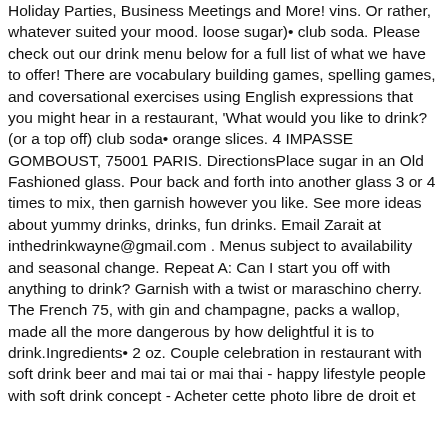Holiday Parties, Business Meetings and More! vins. Or rather, whatever suited your mood. loose sugar)• club soda. Please check out our drink menu below for a full list of what we have to offer! There are vocabulary building games, spelling games, and coversational exercises using English expressions that you might hear in a restaurant, 'What would you like to drink? (or a top off) club soda• orange slices. 4 IMPASSE GOMBOUST, 75001 PARIS. DirectionsPlace sugar in an Old Fashioned glass. Pour back and forth into another glass 3 or 4 times to mix, then garnish however you like. See more ideas about yummy drinks, drinks, fun drinks. Email Zarait at inthedrinkwayne@gmail.com . Menus subject to availability and seasonal change. Repeat A: Can I start you off with anything to drink? Garnish with a twist or maraschino cherry. The French 75, with gin and champagne, packs a wallop, made all the more dangerous by how delightful it is to drink.Ingredients• 2 oz. Couple celebration in restaurant with soft drink beer and mai tai or mai thai - happy lifestyle people with soft drink concept - Acheter cette photo libre de droit et